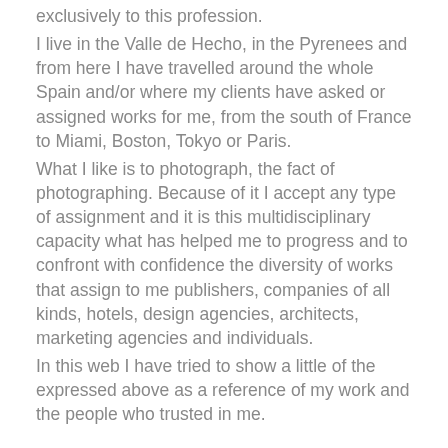exclusively to this profession. I live in the Valle de Hecho, in the Pyrenees and from here I have travelled around the whole Spain and/or where my clients have asked or assigned works for me, from the south of France to Miami, Boston, Tokyo or Paris. What I like is to photograph, the fact of photographing. Because of it I accept any type of assignment and it is this multidisciplinary capacity what has helped me to progress and to confront with confidence the diversity of works that assign to me publishers, companies of all kinds, hotels, design agencies, architects, marketing agencies and individuals. In this web I have tried to show a little of the expressed above as a reference of my work and the people who trusted in me.